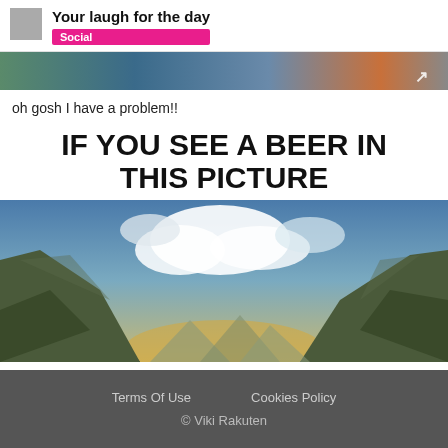Your laugh for the day
Social
[Figure (photo): Partial cropped photo at top of page, appears to be a colorful image with orange/teal/blue tones]
oh gosh I have a problem!!
IF YOU SEE A BEER IN THIS PICTURE
[Figure (photo): Landscape photo showing two rocky mountain peaks or cliffs with a gap between them revealing a sky with clouds and warm golden light below, resembling the shape of a beer glass]
Terms Of Use    Cookies Policy
© Viki Rakuten